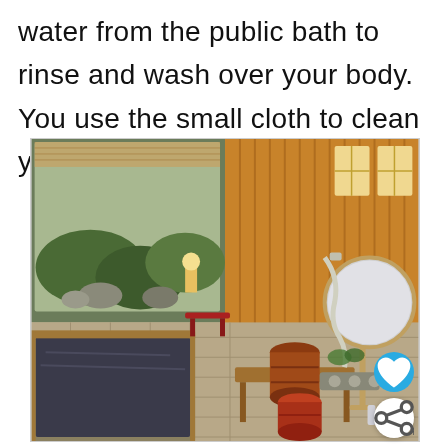water from the public bath to rinse and wash over your body. You use the small cloth to clean yourself.
[Figure (photo): Interior of a traditional Japanese bathhouse (sentō/onsen private bath room) showing a wooden soaking tub with dark water on the left, a garden view through a window with rocks and greenery, wooden walls and tiled floor, wooden barrel buckets, a shower hose with mirror, and a red stool. A heart icon (teal circle) and a share icon (white circle) overlay the bottom-right corner.]